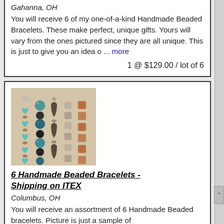Gahanna, OH
You will receive 6 of my one-of-a-kind Handmade Beaded Bracelets. These make perfect, unique gifts. Yours will vary from the ones pictured since they are all unique. This is just to give you an idea o ... more
1 @ $129.00 / lot of 6
[Figure (photo): Photo of multiple handmade beaded bracelet strands with turquoise hearts, sparkle beads, brown/amber square beads and other decorative elements arranged vertically side by side]
6 Handmade Beaded Bracelets - Shipping on ITEX
Columbus, OH
You will receive an assortment of 6 Handmade Beaded bracelets. Picture is just a sample of